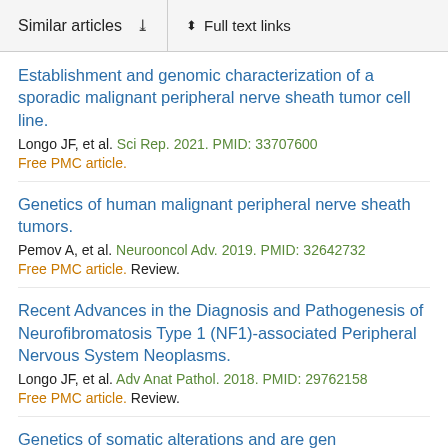Similar articles   ∨   Full text links
Establishment and genomic characterization of a sporadic malignant peripheral nerve sheath tumor cell line.
Longo JF, et al. Sci Rep. 2021. PMID: 33707600
Free PMC article.
Genetics of human malignant peripheral nerve sheath tumors.
Pemov A, et al. Neurooncol Adv. 2019. PMID: 32642732
Free PMC article. Review.
Recent Advances in the Diagnosis and Pathogenesis of Neurofibromatosis Type 1 (NF1)-associated Peripheral Nervous System Neoplasms.
Longo JF, et al. Adv Anat Pathol. 2018. PMID: 29762158
Free PMC article. Review.